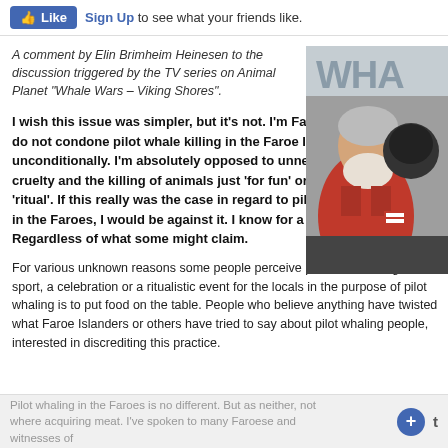Like  Sign Up to see what your friends like.
A comment by Elin Brimheim Heinesen to the discussion triggered by the TV series on Animal Planet “Whale Wars – Viking Shores”.
[Figure (photo): Photo showing an older man with white beard in a red jacket, partial 'WHA' text visible at top, black and white helmet visible behind him.]
I wish this issue was simpler, but it’s not. I’m Faroese and I do not condone pilot whale killing in the Faroe Islands unconditionally. I’m absolutely opposed to unnecessary cruelty and the killing of animals just ‘for fun’ or as part of a ‘ritual’. If this really was the case in regard to pilot whaling in the Faroes, I would be against it. I know for a fact it’s not. Regardless of what some might claim.
For various unknown reasons some people perceive pilot whale killing as a sport, a celebration or a ritualistic event for the locals in the purpose of pilot whaling is to put food on the table. People who believe anything have twisted what Faroe Islanders or others have tried to say about pilot whaling people, interested in discrediting this practice.
Pilot whaling in the Faroes is no different. But as neither, not where acquiring meat. I’ve spoken to many Faroese and witnesses of